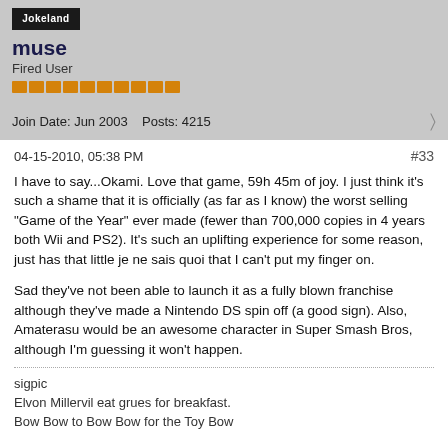[Figure (logo): Jokeland avatar/logo banner - dark background with white text]
muse
Fired User
[Figure (infographic): Orange reputation bar blocks (10 blocks)]
Join Date: Jun 2003    Posts: 4215
04-15-2010, 05:38 PM
#33
I have to say...Okami. Love that game, 59h 45m of joy. I just think it's such a shame that it is officially (as far as I know) the worst selling "Game of the Year" ever made (fewer than 700,000 copies in 4 years both Wii and PS2). It's such an uplifting experience for some reason, just has that little je ne sais quoi that I can't put my finger on.
Sad they've not been able to launch it as a fully blown franchise although they've made a Nintendo DS spin off (a good sign). Also, Amaterasu would be an awesome character in Super Smash Bros, although I'm guessing it won't happen.
sigpic
Elvon Millervil eat grues for breakfast.
Bow Bow to Bow Bow for the Toy Bow